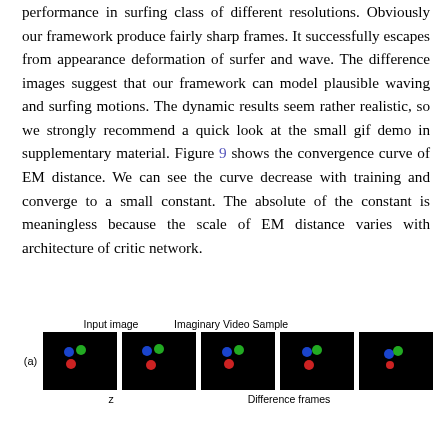performance in surfing class of different resolutions. Obviously our framework produce fairly sharp frames. It successfully escapes from appearance deformation of surfer and wave. The difference images suggest that our framework can model plausible waving and surfing motions. The dynamic results seem rather realistic, so we strongly recommend a quick look at the small gif demo in supplementary material. Figure 9 shows the convergence curve of EM distance. We can see the curve decrease with training and converge to a small constant. The absolute of the constant is meaningless because the scale of EM distance varies with architecture of critic network.
[Figure (illustration): Row (a) showing input image and imaginary video sample frames: five dark/black image frames with colored dots (blue, green, red) representing moving objects. Below row shows z label and Difference frames label.]